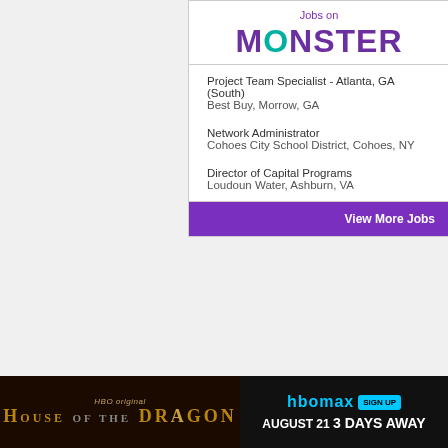[Figure (logo): Jobs on Monster logo - top widget header with purple 'Jobs on' text and large Monster wordmark with teal O]
Project Team Specialist - Atlanta, GA (South)
Best Buy, Morrow, GA
Network Administrator
Cohoes City School District, Cohoes, NY
Director of Capital Programs
Loudoun Water, Ashburn, VA
View More Jobs
[Figure (logo): Jobs on Monster logo - bottom widget header with purple 'Jobs on' text and large Monster wordmark with teal O]
RNs/LPNs
[Figure (screenshot): HBO Max advertisement banner for House of the Dragon - August 21, 3 Days Away with Sign Up button]